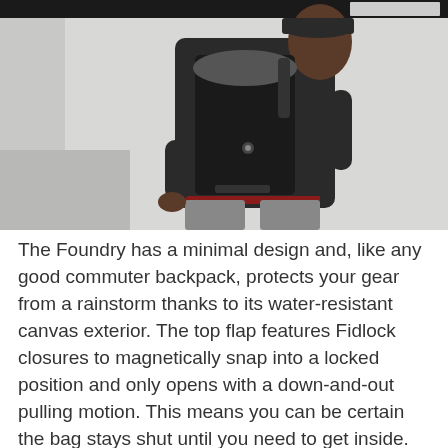[Figure (photo): A man wearing a black commuter backpack (The Foundry) with a grey flap, standing against a white wall, wearing a black jacket and grey pants, viewed from a three-quarter rear angle.]
The Foundry has a minimal design and, like any good commuter backpack, protects your gear from a rainstorm thanks to its water-resistant canvas exterior. The top flap features Fidlock closures to magnetically snap into a locked position and only opens with a down-and-out pulling motion. This means you can be certain the bag stays shut until you need to get inside. You'll also get a quick access